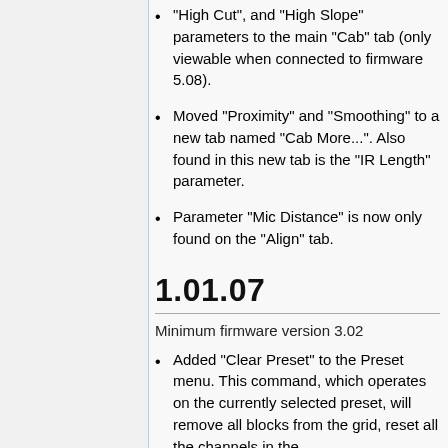"High Cut", and "High Slope" parameters to the main "Cab" tab (only viewable when connected to firmware 5.08).
Moved "Proximity" and "Smoothing" to a new tab named "Cab More...". Also found in this new tab is the "IR Length" parameter.
Parameter "Mic Distance" is now only found on the "Align" tab.
1.01.07
Minimum firmware version 3.02
Added "Clear Preset" to the Preset menu. This command, which operates on the currently selected preset, will remove all blocks from the grid, reset all the channels in the